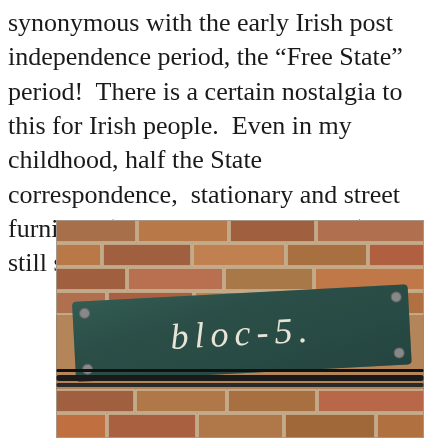synonymous with the early Irish post independence period, the “Free State” period!  There is a certain nostalgia to this for Irish people.  Even in my childhood, half the State correspondence,  stationary and street furniture (Post Boxes and the like) were still scripted in a similar style font.
[Figure (photo): A photograph of an old Irish street sign mounted on a brick wall. The sign is a rectangular metal plate with a dark patina, displaying text in Gaelic-style script reading 'bloc-5.' The sign is tilted slightly and mounted on reddish-brown brick. Electrical cables are visible below.]